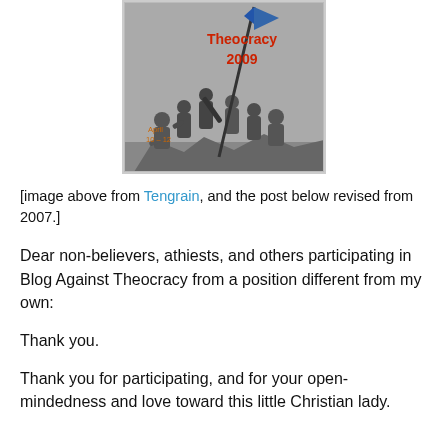[Figure (photo): Black and white photo of soldiers raising a flag (Iwo Jima style), with red text overlaid reading 'Theocracy 2009' and 'April 10-12' in red/orange at bottom left. A blue flag is visible at top.]
[image above from Tengrain, and the post below revised from 2007.]
Dear non-believers, athiests, and others participating in Blog Against Theocracy from a position different from my own:
Thank you.
Thank you for participating, and for your open-mindedness and love toward this little Christian lady.